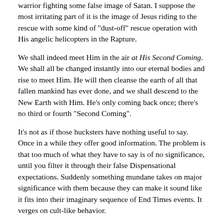warrior fighting some false image of Satan. I suppose the most irritating part of it is the image of Jesus riding to the rescue with some kind of "dust-off" rescue operation with His angelic helicopters in the Rapture.
We shall indeed meet Him in the air at His Second Coming. We shall all be changed instantly into our eternal bodies and rise to meet Him. He will then cleanse the earth of all that fallen mankind has ever done, and we shall descend to the New Earth with Him. He's only coming back once; there's no third or fourth "Second Coming".
It's not as if those hucksters have nothing useful to say. Once in a while they offer good information. The problem is that too much of what they have to say is of no significance, until you filter it through their false Dispensational expectations. Suddenly something mundane takes on major significance with them because they can make it sound like it fits into their imaginary sequence of End Times events. It verges on cult-like behavior.
I visit plenty of sites, too. However, I can tell you that if you back away from the Net, including this blog as well, you can still discern almost everything you need to know by getting more in touch with your convictions. If you truly trusted in your own heart, you would know that hard times are coming without